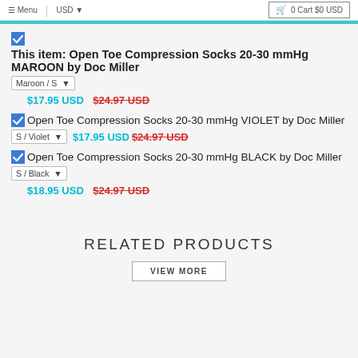≡ Menu | USD ▾ | 🛒 0 Cart $0 USD
This item: Open Toe Compression Socks 20-30 mmHg MAROON by Doc Miller [Maroon/S ▾] $17.95 USD $24.97 USD
Open Toe Compression Socks 20-30 mmHg VIOLET by Doc Miller [S/Violet ▾] $17.95 USD $24.97 USD
Open Toe Compression Socks 20-30 mmHg BLACK by Doc Miller [S/Black ▾] $18.95 USD $24.97 USD
RELATED PRODUCTS
VIEW MORE